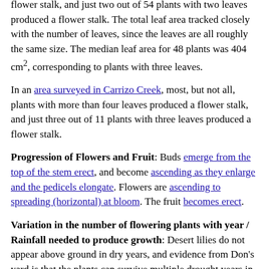flower stalk, and just two out of 54 plants with two leaves produced a flower stalk. The total leaf area tracked closely with the number of leaves, since the leaves are all roughly the same size. The median leaf area for 48 plants was 404 cm², corresponding to plants with three leaves.
In an area surveyed in Carrizo Creek, most, but not all, plants with more than four leaves produced a flower stalk, and just three out of 11 plants with three leaves produced a flower stalk.
Progression of Flowers and Fruit: Buds emerge from the top of the stem erect, and become ascending as they enlarge and the pedicels elongate. Flowers are ascending to spreading (horizontal) at bloom. The fruit becomes erect.
Variation in the number of flowering plants with year / Rainfall needed to produce growth: Desert lilies do not appear above ground in dry years, and evidence from Don's yard is that the plants can survive multiple drought years in a row without producing any above-ground growth. Some years the plants may produce only vegetative growth above-ground. Wet years cause essentially every mature plant to bloom. A